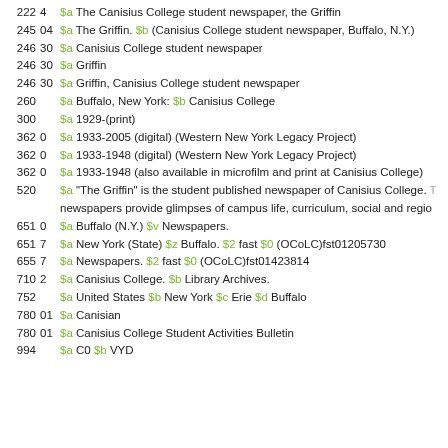222  4   $a The Canisius College student newspaper, the Griffin
245  04  $a The Griffin. $b (Canisius College student newspaper, Buffalo, N.Y.)
246  30  $a Canisius College student newspaper
246  30  $a Griffin
246  30  $a Griffin, Canisius College student newspaper
260       $a Buffalo, New York: $b Canisius College
300       $a 1929-(print)
362  0   $a 1933-2005 (digital) (Western New York Legacy Project)
362  0   $a 1933-1948 (digital) (Western New York Legacy Project)
362  0   $a 1933-1948 (also available in microfilm and print at Canisius College)
520       $a "The Griffin" is the student published newspaper of Canisius College. newspapers provide glimpses of campus life, curriculum, social and regio
651  0   $a Buffalo (N.Y.) $v Newspapers.
651  7   $a New York (State) $z Buffalo. $2 fast $0 (OCoLC)fst01205730
655  7   $a Newspapers. $2 fast $0 (OCoLC)fst01423814
710  2   $a Canisius College. $b Library Archives.
752       $a United States $b New York $c Erie $d Buffalo
780  01  $a Canisian
780  01  $a Canisius College Student Activities Bulletin
994       $a C0 $b VYD